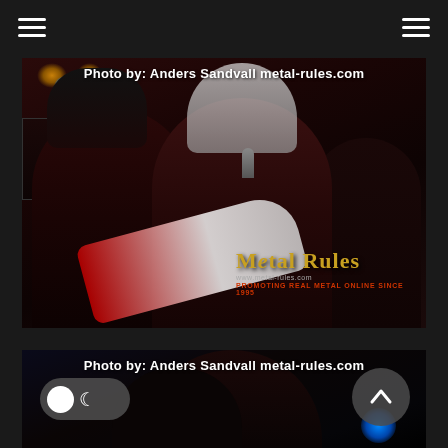[Figure (photo): Concert photo showing two metal musicians on stage — one with long dark hair playing a white/red guitar, another with long blond/white hair singing into a microphone. A third performer is visible in the background on the right. Stage lighting with amber and blue lights is visible. The Metal Rules logo and tagline appear in the lower right corner. Photo credit watermark reads 'Photo by: Anders Sandvall metal-rules.com']
[Figure (photo): Partial concert photo showing performers on stage with blue stage lighting visible at the bottom right. Photo credit watermark reads 'Photo by: Anders Sandvall metal-rules.com'. UI elements including a light/dark mode toggle and a scroll-to-top button are overlaid on this image.]